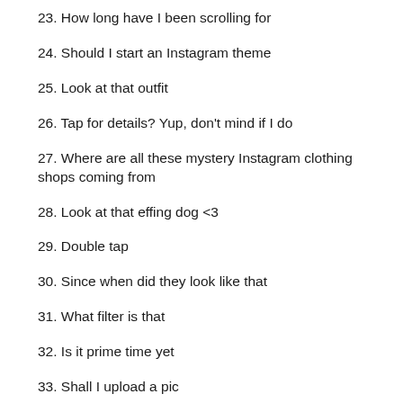23. How long have I been scrolling for
24. Should I start an Instagram theme
25. Look at that outfit
26. Tap for details? Yup, don't mind if I do
27. Where are all these mystery Instagram clothing shops coming from
28. Look at that effing dog <3
29. Double tap
30. Since when did they look like that
31. What filter is that
32. Is it prime time yet
33. Shall I upload a pic